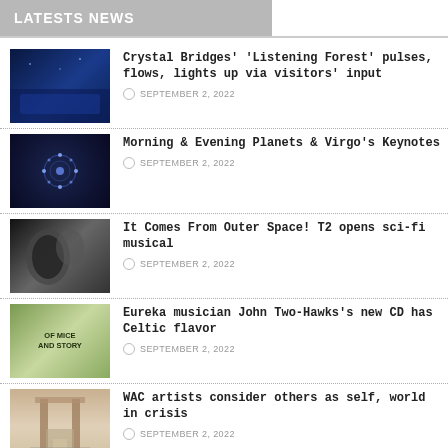LATESTS NEWS
Crystal Bridges' 'Listening Forest' pulses, flows, lights up via visitors' input
SEPTEMBER 2, 2022
Morning & Evening Planets & Virgo's Keynotes
SEPTEMBER 2, 2022
It Comes From Outer Space! T2 opens sci-fi musical
SEPTEMBER 2, 2022
Eureka musician John Two-Hawks's new CD has Celtic flavor
SEPTEMBER 2, 2022
WAC artists consider others as self, world in crisis
SEPTEMBER 2, 2022